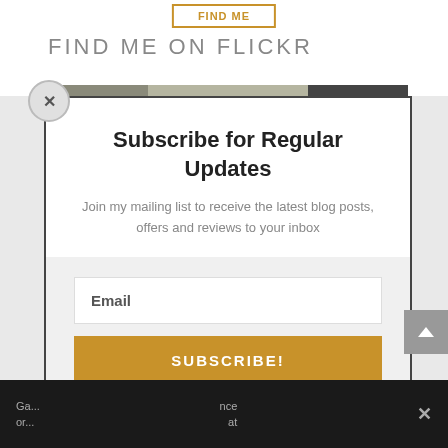FIND ME ON FLICKR
[Figure (photo): Horizontal photo strip showing buildings/architecture thumbnails]
Subscribe for Regular Updates
Join my mailing list to receive the latest blog posts, offers and reviews to your inbox
Email
SUBSCRIBE!